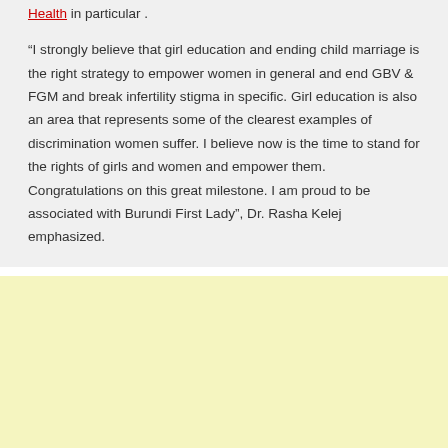Health in particular .
“I strongly believe that girl education and ending child marriage is the right strategy to empower women in general and end GBV & FGM and break infertility stigma in specific. Girl education is also an area that represents some of the clearest examples of discrimination women suffer. I believe now is the time to stand for the rights of girls and women and empower them. Congratulations on this great milestone. I am proud to be associated with Burundi First Lady”, Dr. Rasha Kelej emphasized.